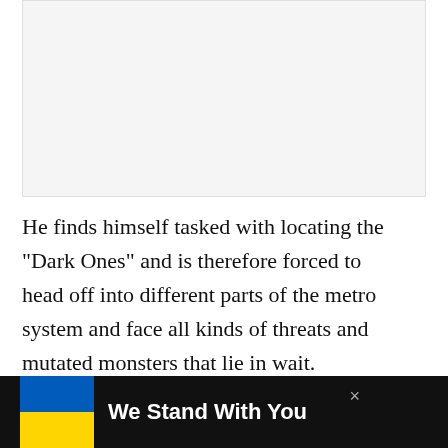[Figure (other): Placeholder image area (light gray background)]
He finds himself tasked with locating the “Dark Ones” and is therefore forced to head off into different parts of the metro system and face all kinds of threats and mutated monsters that lie in wait.
[Figure (other): Like button (heart icon, blue circle) with count 4, and share button]
[Figure (other): Footer advertisement banner: Ukraine flag, text 'We Stand With You', close button (x), and logo]
We Stand With You